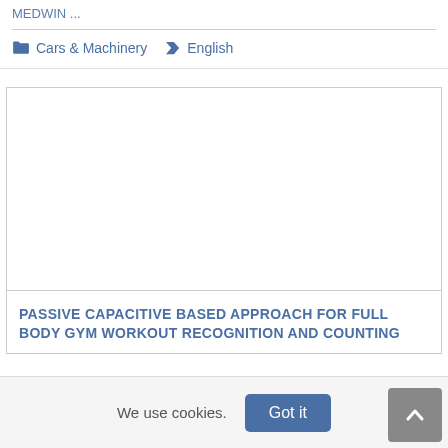MEDWIN ...
Cars & Machinery   English
[Figure (other): White empty image placeholder in a bordered card]
PASSIVE CAPACITIVE BASED APPROACH FOR FULL BODY GYM WORKOUT RECOGNITION AND COUNTING
We use cookies.